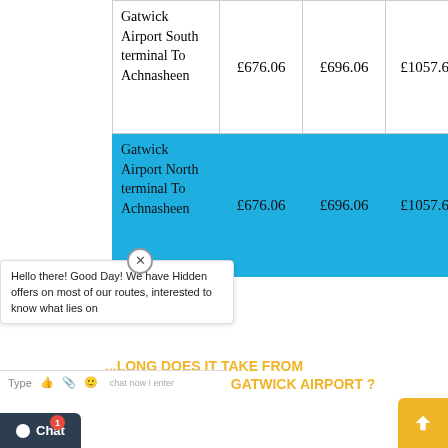| Route | Price 1 | Price 2 | Price 3 |
| --- | --- | --- | --- |
| Gatwick Airport South terminal To Achnasheen | £676.06 | £696.06 | £1057.696 |
| Gatwick Airport North terminal To Achnasheen | £676.06 | £696.06 | £1057.696 |
Hello there! Good Day! We have Hidden offers on most of our routes, interested to know what lies on...
HOW LONG DOES IT TAKE FROM ACHNASHEEN TO GATWICK AIRPORT ?